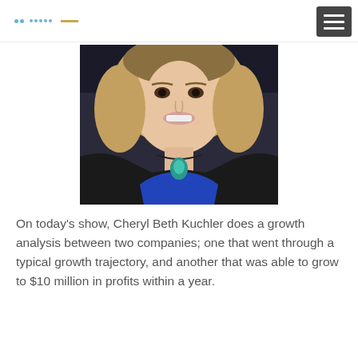logo navigation header
[Figure (photo): Professional headshot of Cheryl Beth Kuchler, a woman with blonde hair, wearing a black blazer over a blue top with a teal teardrop pendant necklace. The photo is cropped to show her face and upper torso.]
On today's show, Cheryl Beth Kuchler does a growth analysis between two companies; one that went through a typical growth trajectory, and another that was able to grow to $10 million in profits within a year.